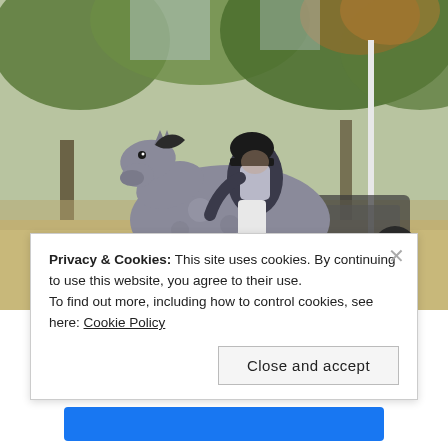[Figure (photo): Photograph of a rider on a grey horse jumping at an equestrian event, with trees in the background and other equipment visible.]
Privacy & Cookies: This site uses cookies. By continuing to use this website, you agree to their use.
To find out more, including how to control cookies, see here: Cookie Policy
Close and accept